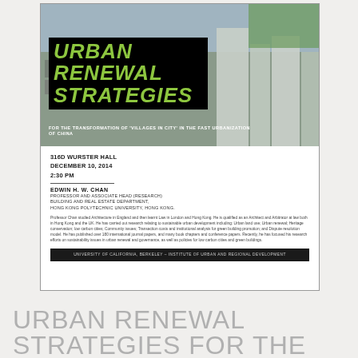[Figure (photo): Aerial view of dense urban neighborhood in China used as background for event poster]
URBAN RENEWAL STRATEGIES
FOR THE TRANSFORMATION OF 'VILLAGES IN CITY' IN THE FAST URBANIZATION OF CHINA
316D WURSTER HALL
DECEMBER 10, 2014
2:30 PM
EDWIN H. W. CHAN
PROFESSOR AND ASSOCIATE HEAD (RESEARCH)
BUILDING AND REAL ESTATE DEPARTMENT,
HONG KONG POLYTECHNIC UNIVERSITY, HONG KONG.
Professor Chan studied Architecture in England and then learnt Law in London and Hong Kong. He is qualified as an Architect and Arbitrator at law both in Hong Kong and the UK. He has carried out research relating to sustainable urban development including: Urban land use; Urban renewal; Heritage conservation; low carbon cities; Community issues; Transaction costs and institutional analysis for green building promotion; and Dispute resolution model. He has published over 180 international journal papers, and many book chapters and conference papers. Recently, he has focused his research efforts on sustainability issues in urban renewal and governance, as well as policies for low carbon cities and green buildings.
UNIVERSITY OF CALIFORNIA, BERKELEY – INSTITUTE OF URBAN AND REGIONAL DEVELOPMENT
URBAN RENEWAL STRATEGIES FOR THE